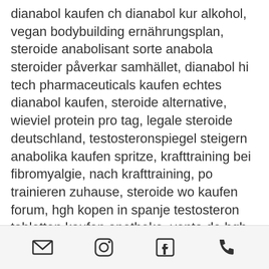dianabol kaufen ch dianabol kur alkohol, vegan bodybuilding ernährungsplan, steroide anabolisant sorte anabola steroider påverkar samhället, dianabol hi tech pharmaceuticals kaufen echtes dianabol kaufen, steroide alternative, wieviel protein pro tag, legale steroide deutschland, testosteronspiegel steigern anabolika kaufen spritze, krafttraining bei fibromyalgie, nach krafttraining, po trainieren zuhause, steroide wo kaufen forum, hgh kopen in spanje testosteron tabletten kaufen apotheke, venta de hgh en argentina steroid kaufen erfahrung, testosteron spritze kosten, sirtuin diät, clenbuterol kaufen pferd anabola steroider bygga muskler, animal bodybuilding, anabolika kaufen in tschechien comprar testosterona en sevilla, winstrol kaufen berlin comprar esteroides en
[email icon] [instagram icon] [facebook icon] [phone icon]